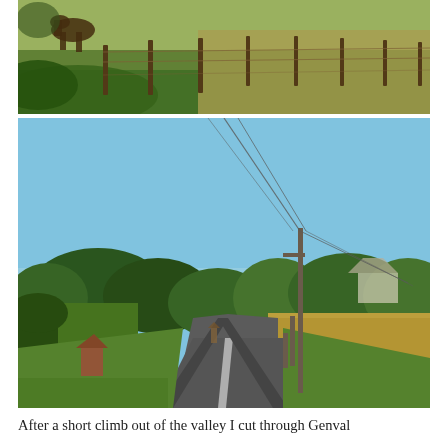[Figure (photo): Rural countryside scene showing a grassy field with wooden fence posts along a path. A horse is visible in the background on the left. Lush green grass in the foreground, golden dry grass beyond the fence.]
[Figure (photo): A narrow winding country road through a Belgian rural landscape. Clear blue sky above. Trees and hedges line both sides of the road. A utility pole with power lines is visible on the right side. A small brick wayside shrine is visible on the left roadside. Golden wheat/grass fields on the right.]
After a short climb out of the valley I cut through Genval